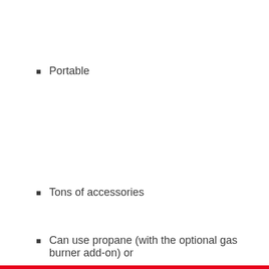Portable
Tons of accessories
Can use propane (with the optional gas burner add-on) or